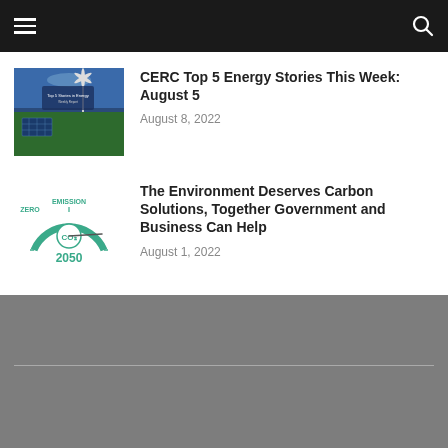Navigation bar with hamburger menu and search icon
[Figure (photo): Thumbnail image of energy report cover showing solar panels, wind turbines, and green fields]
CERC Top 5 Energy Stories This Week: August 5
August 8, 2022
[Figure (illustration): Zero Emission CO2 2050 gauge/speedometer graphic in teal color]
The Environment Deserves Carbon Solutions, Together Government and Business Can Help
August 1, 2022
Footer area gray background with horizontal divider line